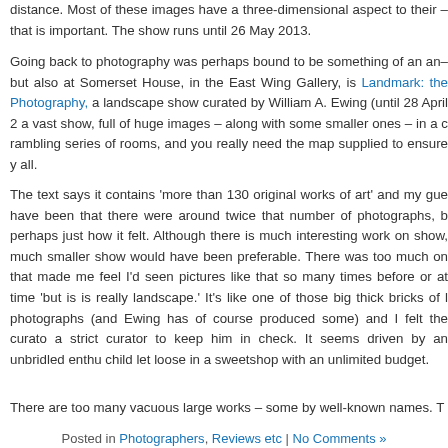distance. Most of these images have a three-dimensional aspect to their – that is important. The show runs until 26 May 2013.
Going back to photography was perhaps bound to be something of an an– but also at Somerset House, in the East Wing Gallery, is Landmark: the Photography, a landscape show curated by William A. Ewing (until 28 April 2 a vast show, full of huge images – along with some smaller ones – in a c rambling series of rooms, and you really need the map supplied to ensure y all.
The text says it contains 'more than 130 original works of art' and my gue have been that there were around twice that number of photographs, b perhaps just how it felt. Although there is much interesting work on show, much smaller show would have been preferable. There was too much on that made me feel I'd seen pictures like that so many times before or at time 'but is is really landscape.' It's like one of those big thick bricks of l photographs (and Ewing has of course produced some) and I felt the curato a strict curator to keep him in check. It seems driven by an unbridled enthu child let loose in a sweetshop with an unlimited budget.
There are too many vacuous large works – some by well-known names. T pictures that seem nice pages for coffee table books or colour supplements much work that I liked. If you have an interest in landscape there will pro much that interests you – just be prepared to walk through a lot of long gras it.
Posted in Photographers, Reviews etc | No Comments »